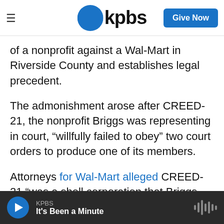KPBS — Give Now
of a nonprofit against a Wal-Mart in Riverside County and establishes legal precedent.
The admonishment arose after CREED-21, the nonprofit Briggs was representing in court, “willfully failed to obey” two court orders to produce one of its members.
Attorneys for Wal-Mart alleged CREED-21 “was a shell corporation that Briggs used to recover attorney fees from large corporations.” Lawyers who have faced Briggs in the past have echoed Wal-Mart’s concerns. The city of San Diego, in one
KPBS — It's Been a Minute